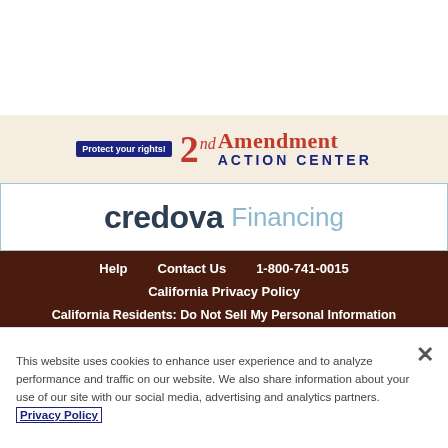[Figure (logo): 2nd Amendment Action Center banner with 'Protect your rights!' badge on beige background]
[Figure (logo): Credova Financing logo in bordered white box]
Help   Contact Us   1-800-741-0015
California Privacy Policy
California Residents: Do Not Sell My Personal Information
This website uses cookies to enhance user experience and to analyze performance and traffic on our website. We also share information about your use of our site with our social media, advertising and analytics partners. Privacy Policy